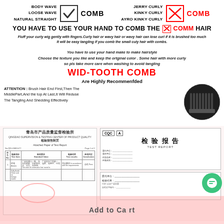[Figure (infographic): Hair care instructions infographic showing comb usage guide, wide-tooth comb recommendation, attention notice, and quality certification documents]
BODY WAVE / LOOSE WAVE / NATURAL STRAIGHT [checkmark] COMB | JERRY CURLY / KINKY CURLY / AYRO KINKY CURLY [X] COMB
YOU HAVE TO USE YOUR HAND TO COMB THE [X] COMM HAIR
Fluff your curly wig gently with fingers.Curly hair or wavy hair or wavy hair can lose curl if it is brushed too much It will be easy tangling if you comb the small culy hair with combs.
You have to use your hand make to make hairstyle Choose the texture you like and keep the ortginal color . Some hair with more curly so pls take more care when washing to avoid tangling
WID-TOOTH COMB Are Highly Recommenfded
ATTENTION: Brush Hair End First,Then The MiddlePart,And the top At Last,It Will Reduse The Tangling And Shedding Effectively
[Figure (photo): Photo of a wide-tooth comb close-up, circular cropped]
[Figure (photo): Chinese quality inspection certificate document - 青岛市产品质量监督检验所]
[Figure (photo): Chinese inspection report card - 检验报告 TEST REPORT with logos]
Add to Cart